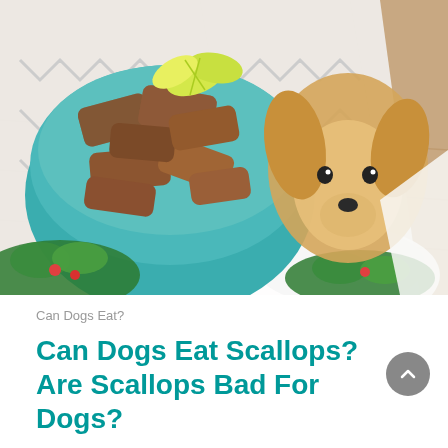[Figure (photo): Overhead view of a teal bowl filled with grilled/fried fish pieces and lemon wedges on a patterned cloth, with a golden retriever or beagle dog peering up from the background on a wooden floor, and green salad visible in lower corners.]
Can Dogs Eat?
Can Dogs Eat Scallops? Are Scallops Bad For Dogs?